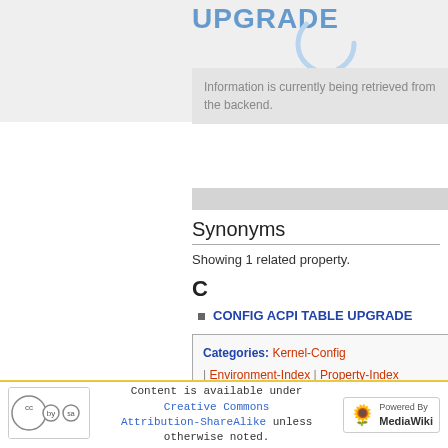UPGRADE
[Figure (other): Spinner/loading indicator circle arc in light blue]
Information is currently being retrieved from the backend.
Synonyms
Showing 1 related property.
C
CONFIG ACPI TABLE UPGRADE
Categories: Kernel-Config | Environment-Index | Property-Index | External-Objects | Index
Content is available under Creative Commons Attribution-ShareAlike unless otherwise noted.